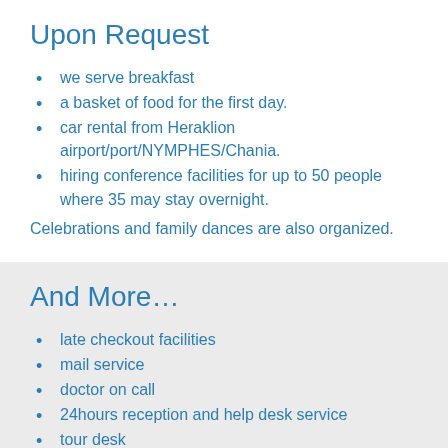Upon Request
we serve breakfast
a basket of food for the first day.
car rental from Heraklion airport/port/NYMPHES/Chania.
hiring conference facilities for up to 50 people where 35 may stay overnight.
Celebrations and family dances are also organized.
And More…
late checkout facilities
mail service
doctor on call
24hours reception and help desk service
tour desk